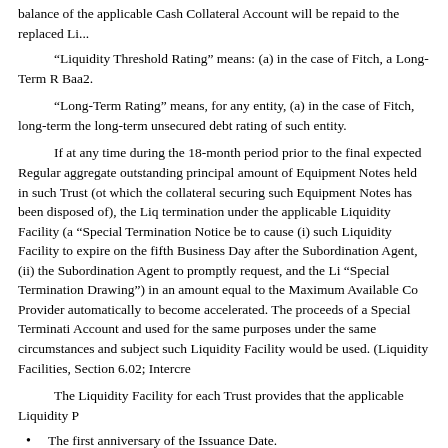balance of the applicable Cash Collateral Account will be repaid to the replaced Li...
“Liquidity Threshold Rating” means: (a) in the case of Fitch, a Long-Term R... Baa2.
“Long-Term Rating” means, for any entity, (a) in the case of Fitch, long-term... the long-term unsecured debt rating of such entity.
If at any time during the 18-month period prior to the final expected Regular... such Liquidity Facility would be used. (Liquidity Facilities, Section 6.02; Intercre...
The Liquidity Facility for each Trust provides that the applicable Liquidity P...
The first anniversary of the Issuance Date.
The date on which the Subordination Agent delivers to such Liquidity Pro... been paid in full.
The date on which the Subordination Agent delivers to such Liquidity Pro... for such Liquidity Facility.
The fifth Business Day following receipt by the Subordination Agent of a...